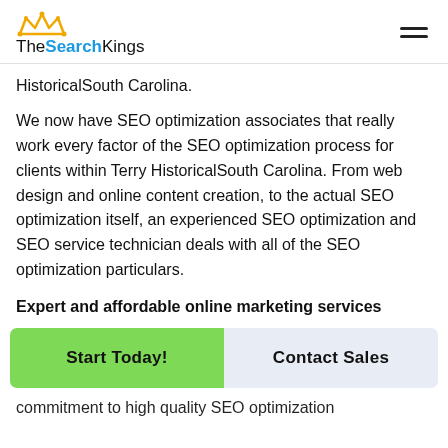TheSearchKings
HistoricalSouth Carolina.
We now have SEO optimization associates that really work every factor of the SEO optimization process for clients within Terry HistoricalSouth Carolina. From web design and online content creation, to the actual SEO optimization itself, an experienced SEO optimization and SEO service technician deals with all of the SEO optimization particulars.
Expert and affordable online marketing services
Start Today!
Contact Sales
commitment to high quality SEO optimization